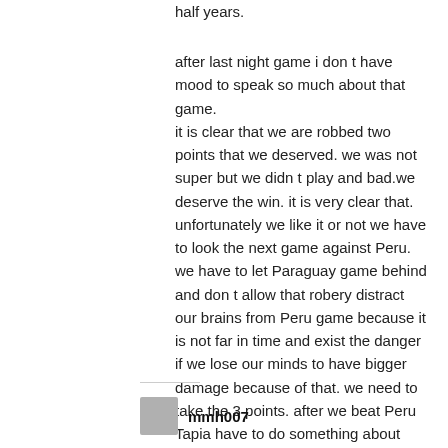half years.
after last night game i don t have mood to speak so much about that game.
it is clear that we are robbed two points that we deserved. we was not super but we didn t play and bad.we deserve the win. it is very clear that. unfortunately we like it or not we have to look the next game against Peru.
we have to let Paraguay game behind and don t allow that robery distract our brains from Peru game because it is not far in time and exist the danger if we lose our minds to have bigger damage because of that. we need to take the 3 points. after we beat Peru Tapia have to do something about those putos in Conmebol.
mmh007